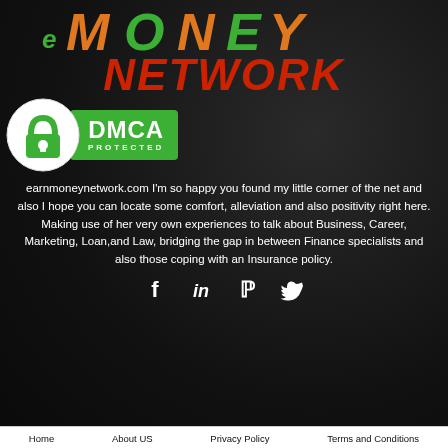[Figure (logo): Earn Money Network logo with stylized 'eMONEY' text in green/orange and 'NETWORK' in red, italic bold font]
[Figure (logo): DMCA Protected badge: white circle with green padlock icon and green rectangle with 'DMCA PROTECTED' text]
earnmoneynetwork.com I'm so happy you found my little corner of the net and also I hope you can locate some comfort, alleviation and also positivity right here. Making use of her very own experiences to talk about Business, Career, Marketing, Loan,and Law, bridging the gap in between Finance specialists and also those coping with an Insurance policy.
[Figure (infographic): Social media icons: Facebook, LinkedIn, Pinterest, Twitter in white]
Home   About US   Privacy Policy   Terms and Conditions